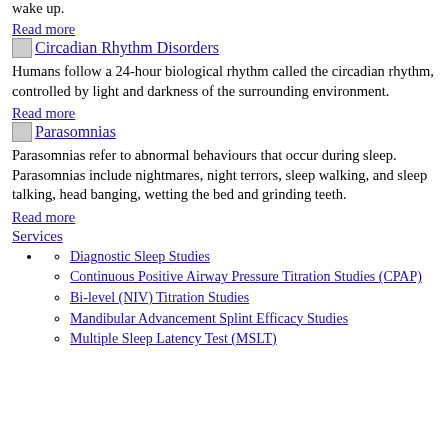wake up.
Read more
Circadian Rhythm Disorders
Humans follow a 24-hour biological rhythm called the circadian rhythm, controlled by light and darkness of the surrounding environment.
Read more
Parasomnias
Parasomnias refer to abnormal behaviours that occur during sleep. Parasomnias include nightmares, night terrors, sleep walking, and sleep talking, head banging, wetting the bed and grinding teeth.
Read more
Services
Diagnostic Sleep Studies
Continuous Positive Airway Pressure Titration Studies (CPAP)
Bi-level (NIV) Titration Studies
Mandibular Advancement Splint Efficacy Studies
Multiple Sleep Latency Test (MSLT)